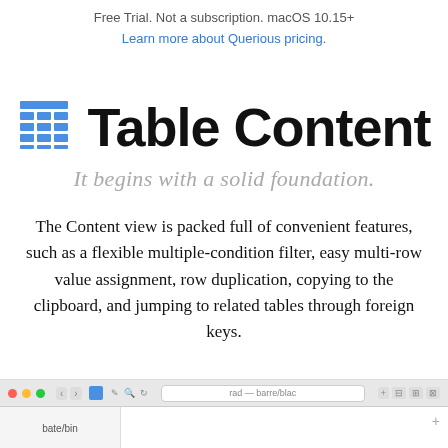Free Trial. Not a subscription. macOS 10.15+
Learn more about Querious pricing.
Table Content
It begins with a solid foundation.
The Content view is packed full of convenient features, such as a flexible multiple-condition filter, easy multi-row value assignment, row duplication, copying to the clipboard, and jumping to related tables through foreign keys.
[Figure (screenshot): Bottom portion of a macOS application window showing a database table content view with toolbar, navigation buttons, address bar-like tab strip, and a table area with a sidebar.]